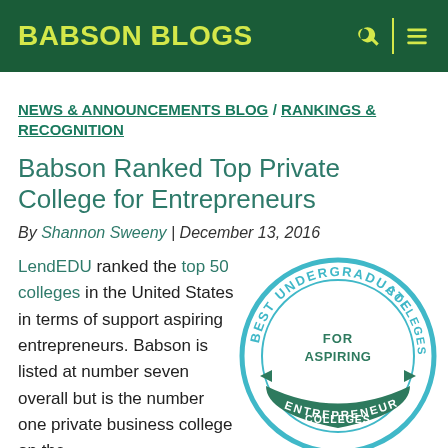BABSON BLOGS
NEWS & ANNOUNCEMENTS BLOG / RANKINGS & RECOGNITION
Babson Ranked Top Private College for Entrepreneurs
By Shannon Sweeny | December 13, 2016
LendEDU ranked the top 50 colleges in the United States in terms of support aspiring entrepreneurs. Babson is listed at number seven overall but is the number one private business college on the
[Figure (logo): Circular badge reading 'Best Undergraduate Colleges For Aspiring Entrepreneurs' in teal and green colors]